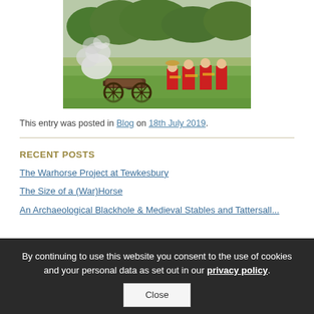[Figure (photo): Historical reenactment scene with soldiers in red uniforms standing near a cannon firing on a green field, smoke rising from the cannon.]
This entry was posted in Blog on 18th July 2019.
RECENT POSTS
The Warhorse Project at Tewkesbury
The Size of a (War)Horse
An Archaeological Blackhole & Medieval Stables and Tatterball...
By continuing to use this website you consent to the use of cookies and your personal data as set out in our privacy policy.
Close